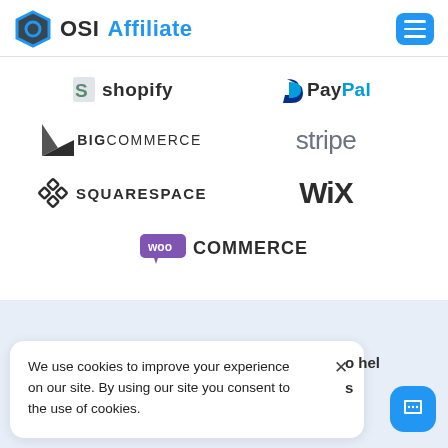[Figure (logo): OSI Affiliate logo with hexagon icon and navigation hamburger menu]
[Figure (logo): Shopify logo]
[Figure (logo): PayPal logo]
[Figure (logo): BigCommerce logo]
[Figure (logo): Stripe logo]
[Figure (logo): Squarespace logo]
[Figure (logo): WiX logo]
[Figure (logo): WooCommerce logo]
We use cookies to improve your experience on our site. By using our site you consent to the use of cookies.